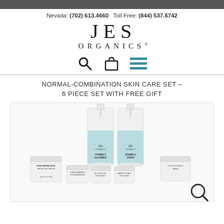Nevada: (702) 613.4660  Toll Free: (844) 537.6742
[Figure (logo): JES Organics logo with stylized serif text]
[Figure (infographic): Navigation icons: search magnifying glass, shopping bag, hamburger menu]
NORMAL-COMBINATION SKIN CARE SET – 6 PIECE SET WITH FREE GIFT
[Figure (photo): Product photo showing 6-piece JES Organics skincare set including Hyaluronic Acid HA-Peptide Serum jar, Ocean Minerals Pore Balancer, Vitamin C Cleanser pump bottle, Vitamin C Toner pump bottle, two small jars (All Skin Pro Exfoliant, Amazon Scalp Exfoliant), and Glycolic Acid Balm jar]